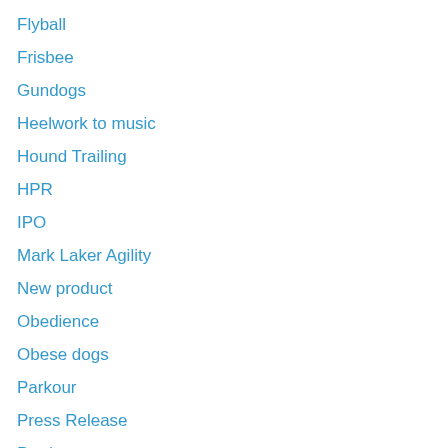Flyball
Frisbee
Gundogs
Heelwork to music
Hound Trailing
HPR
IPO
Mark Laker Agility
New product
Obedience
Obese dogs
Parkour
Press Release
Products
Pups
racing dogs
Rally
Search and Rescue
Sheepdogs
Show cats